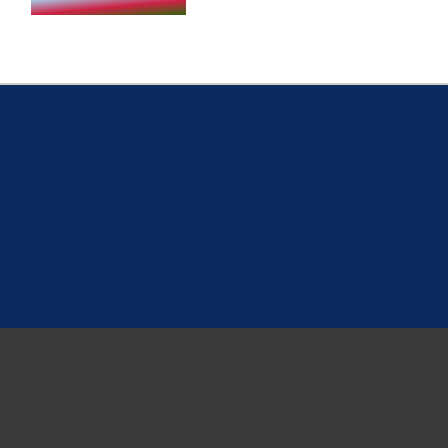[Figure (photo): Partial image of flowers/plant with blue sky background, red and green colors visible at top left]
Copyright © Switzerland County School Corporation | All Rights Reserved